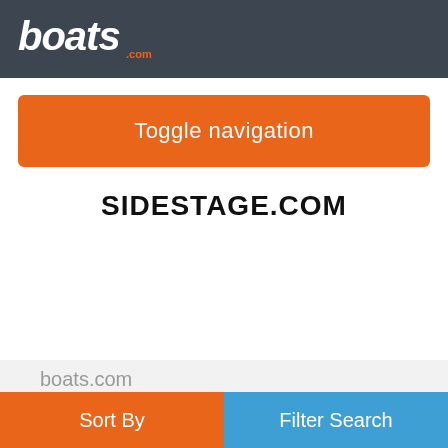boats.com
Toggle navigation
SIDESTAGE.COM
boats.com
About boats.com
Contact
Glossary of Boating Terms
Terms of Use
Sort By  Filter Search